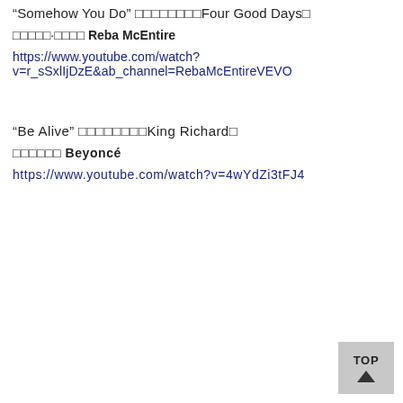“Somehow You Do” □□□□□□□□Four Good Days□
□□□□□·□□□□ Reba McEntire
https://www.youtube.com/watch?
v=r_sSxlIjDzE&ab_channel=RebaMcEntireVEVO
“Be Alive” □□□□□□□□King Richard□
□□□□□□ Beyoncé
https://www.youtube.com/watch?v=4wYdZi3tFJ4